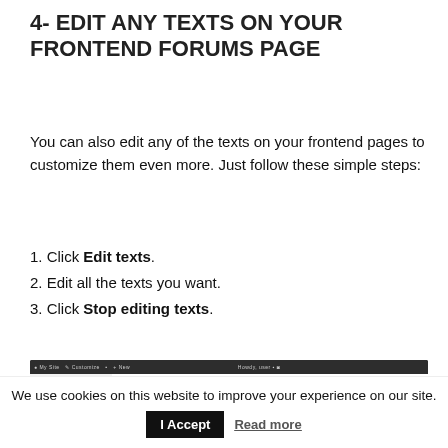4- EDIT ANY TEXTS ON YOUR FRONTEND FORUMS PAGE
You can also edit any of the texts on your frontend pages to customize them even more. Just follow these simple steps:
1. Click Edit texts.
2. Edit all the texts you want.
3. Click Stop editing texts.
[Figure (screenshot): Screenshot of a website admin interface showing a dark browser bar, a sidebar with form fields and a dropdown, and a globe/www icon in the main content area.]
We use cookies on this website to improve your experience on our site.
I Accept   Read more